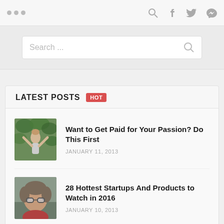... (navigation) | Search | f | Twitter | G+
Search ...
LATEST POSTS HOT
Want to Get Paid for Your Passion? Do This First
JANUARY 11, 2013
28 Hottest Startups And Products to Watch in 2016
JANUARY 10, 2013